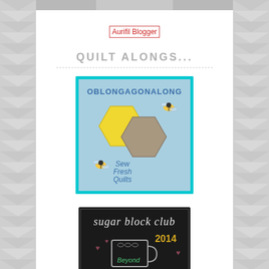[Figure (photo): Top strip of a photo partially visible at top of page]
[Figure (other): Aurifil Blogger badge/link shown as broken image placeholder with red text 'Aurifil Blogger']
QUILT ALONGS...
[Figure (illustration): OblongagonAlong quilt-along badge: light blue square with cyan border, showing two hexagons (yellow and tan/grey), two cartoon bees, text 'OBLONGAGONALONG' at top and 'Sew Fresh Quilts' in middle-lower area]
[Figure (illustration): Sugar Block Club 2014 badge: black chalkboard style with script text 'sugar block club', '2014' in yellow, hearts, a mug, and text 'Beyond']